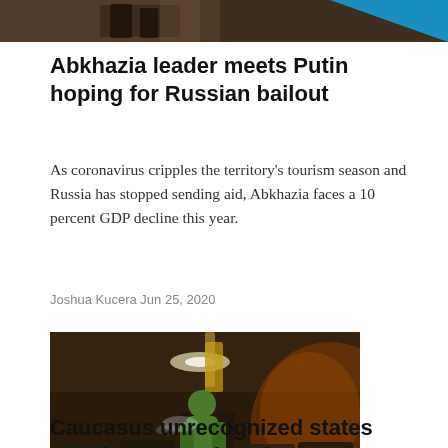[Figure (photo): Partial view of a photo at top of page, dark tones with figures visible, with blue diagonal accent]
Abkhazia leader meets Putin hoping for Russian bailout
As coronavirus cripples the territory's tourism season and Russia has stopped sending aid, Abkhazia faces a 10 percent GDP decline this year.
Joshua Kucera Jun 25, 2020
[Figure (photo): Person in green hazmat suit standing in a bus interior, spraying disinfectant, dark interior with warm light, blue accent triangle at bottom right]
Caucasus unrecognized states remain coronavirus-free